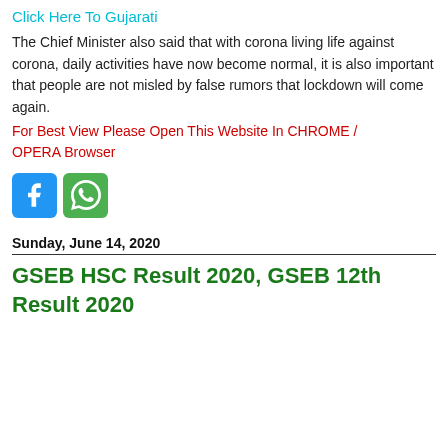Click Here To Gujarati
The Chief Minister also said that with corona living life against corona, daily activities have now become normal, it is also important that people are not misled by false rumors that lockdown will come again.
For Best View Please Open This Website In CHROME / OPERA Browser
[Figure (other): Facebook and WhatsApp social share icons]
Sunday, June 14, 2020
GSEB HSC Result 2020, GSEB 12th Result 2020